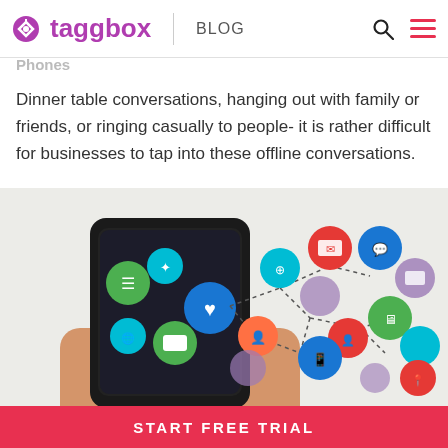taggbox BLOG
Dinner table conversations, hanging out with family or friends, or ringing casually to people- it is rather difficult for businesses to tap into these offline conversations.
[Figure (illustration): Hand holding a smartphone with colorful social media and app icons floating and connected by dotted lines emanating from the phone screen.]
START FREE TRIAL